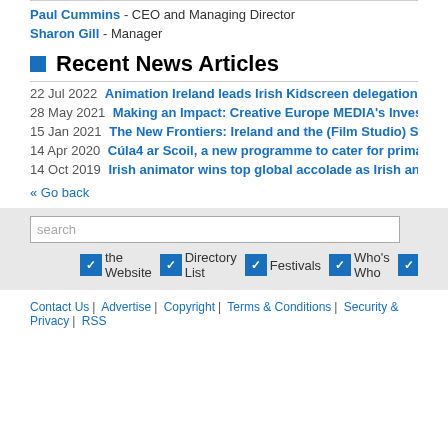Paul Cummins - CEO and Managing Director
Sharon Gill - Manager
Recent News Articles
22 Jul 2022 Animation Ireland leads Irish Kidscreen delegation to Miami for world's
28 May 2021 Making an Impact: Creative Europe MEDIA's Investment in the Irish In
15 Jan 2021 The New Frontiers: Ireland and the (Film Studio) Space Race
14 Apr 2020 Cúla4 ar Scoil, a new programme to cater for primary school children
14 Oct 2019 Irish animator wins top global accolade as Irish animation studios ma
« Go back
search
the Website  Directory List  Festivals  Who's Who  Location
Contact Us | Advertise | Copyright | Terms & Conditions | Security & Privacy | RSS